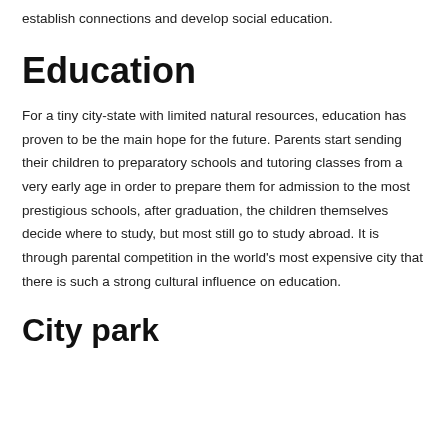establish connections and develop social education.
Education
For a tiny city-state with limited natural resources, education has proven to be the main hope for the future. Parents start sending their children to preparatory schools and tutoring classes from a very early age in order to prepare them for admission to the most prestigious schools, after graduation, the children themselves decide where to study, but most still go to study abroad. It is through parental competition in the world's most expensive city that there is such a strong cultural influence on education.
City park